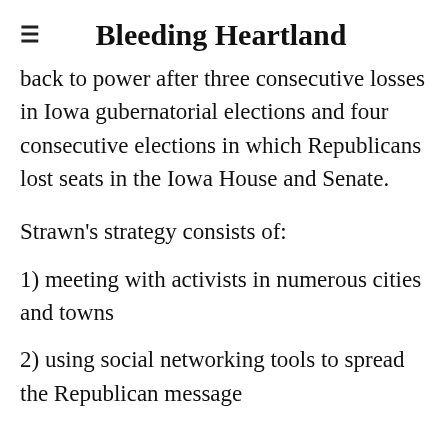Bleeding Heartland
back to power after three consecutive losses in Iowa gubernatorial elections and four consecutive elections in which Republicans lost seats in the Iowa House and Senate.
Strawn's strategy consists of:
1) meeting with activists in numerous cities and towns
2) using social networking tools to spread the Republican message